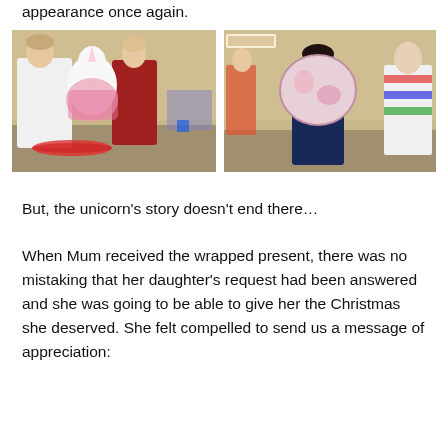appearance once again.
[Figure (photo): Left photo: Two women wrapping gifts in a community hall; one holds a large stuffed unicorn being wrapped in colourful paper; wrapping paper rolls on the floor.]
[Figure (photo): Right photo: A woman laughing as she holds a large wrapped gift in a community hall setting with other volunteers in the background.]
But, the unicorn’s story doesn’t end there…
When Mum received the wrapped present, there was no mistaking that her daughter’s request had been answered and she was going to be able to give her the Christmas she deserved. She felt compelled to send us a message of appreciation: